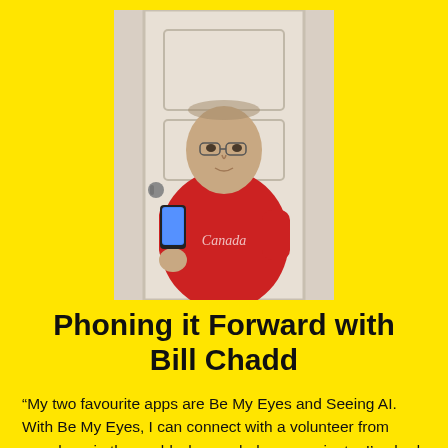[Figure (photo): A man in a red Canada t-shirt holding a smartphone, standing in front of a white door.]
Phoning it Forward with Bill Chadd
“My two favourite apps are Be My Eyes and Seeing AI. With Be My Eyes, I can connect with a volunteer from anywhere in the world who can help me navigate. I’ve had volunteers help me pick out the best colours of the season and I’ve even had a volunteer…